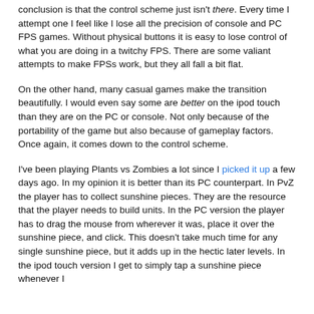conclusion is that the control scheme just isn't there.  Every time I attempt one I feel like I lose all the precision of console and PC FPS games.  Without physical buttons it is easy to lose control of what you are doing in a twitchy FPS.  There are some valiant attempts to make FPSs work, but they all fall a bit flat.
On the other hand, many casual games make the transition beautifully.  I would even say some are better on the ipod touch than they are on the PC or console.  Not only because of the portability of the game but also because of gameplay factors.  Once again, it comes down to the control scheme.
I've been playing Plants vs Zombies a lot since I picked it up a few days ago.  In my opinion it is better than its PC counterpart.  In PvZ the player has to collect sunshine pieces.  They are the resource that the player needs to build units.  In the PC version the player has to drag the mouse from wherever it was, place it over the sunshine piece, and click.  This doesn't take much time for any single sunshine piece, but it adds up in the hectic later levels.  In the ipod touch version I get to simply tap a sunshine piece whenever I